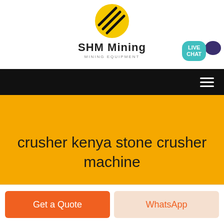[Figure (logo): SHM Mining logo: yellow oval with black diagonal lines, text 'SHM Mining' and 'MINING EQUIPMENT']
[Figure (infographic): Live Chat bubble button in teal with speech icon in dark purple]
[Figure (other): Black navigation bar with hamburger menu icon (three white lines)]
crusher kenya stone crusher machine
Get a Quote
WhatsApp